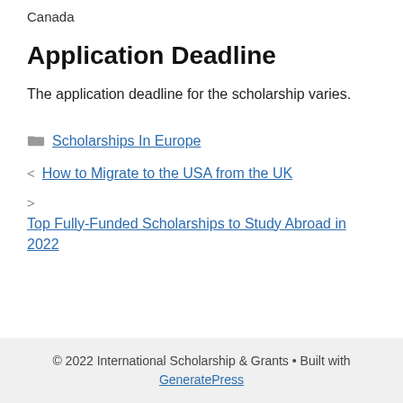Canada
Application Deadline
The application deadline for the scholarship varies.
Scholarships In Europe
How to Migrate to the USA from the UK
Top Fully-Funded Scholarships to Study Abroad in 2022
© 2022 International Scholarship & Grants • Built with GeneratePress